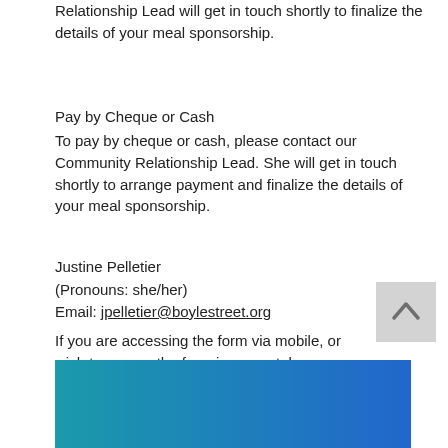Relationship Lead will get in touch shortly to finalize the details of your meal sponsorship.
Pay by Cheque or Cash
To pay by cheque or cash, please contact our Community Relationship Lead. She will get in touch shortly to arrange payment and finalize the details of your meal sponsorship.
Justine Pelletier
(Pronouns: she/her)
Email: jpelletier@boylestreet.org
If you are accessing the form via mobile, or wish to access the form in a new tab, please use this link: http://weblink.donorperfect.com/HolidayMeals2021
[Figure (other): Teal to blue gradient banner at bottom of page]